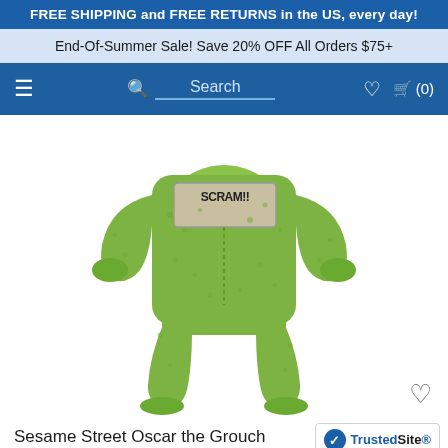FREE SHIPPING and FREE RETURNS in the US, every day!
End-Of-Summer Sale! Save 20% OFF All Orders $75+
Search (0)
[Figure (photo): Green fluffy Sesame Street Oscar the Grouch hooded union suit / onesie pajamas displayed on a mannequin or flat lay, featuring a 'SCRAM!!' patch on the chest, lime green color throughout.]
Sesame Street Oscar the Grouch Hooded Union Suit P
Pajamas